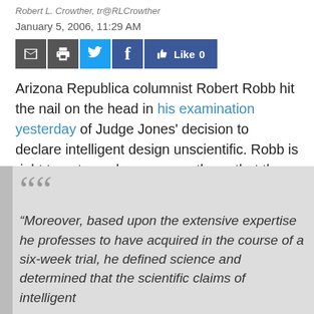Robert L. Crowther, tr@RLCrowther
January 5, 2006, 11:29 AM
[Figure (other): Social sharing buttons bar: email (grey), print (grey), Twitter (blue bird), Facebook (dark blue f), Facebook Like button (blue, Like 0)]
Arizona Republica columnist Robert Robb hit the nail on the head in his examination yesterday of Judge Jones' decision to declare intelligent design unscientific. Robb is right to note, as have many others, that the courtroom is not where science should be, or will be, decided.
“Moreover, based upon the extensive expertise he professes to have acquired in the course of a six-week trial, he defined science and determined that the scientific claims of intelligent